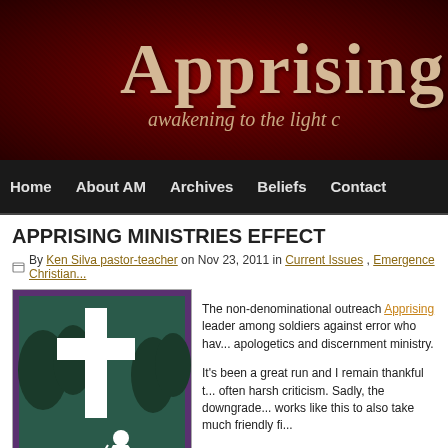[Figure (screenshot): Website header banner with dark red textured background showing 'APPRISING' in large serif font and subtitle 'awakening to the light c...']
Home | About AM | Archives | Beliefs | Contact
APPRISING MINISTRIES EFFECT
By Ken Silva pastor-teacher on Nov 23, 2011 in Current Issues, Emergence Christian...
[Figure (illustration): Illustration of a white cross with a silhouette of a kneeling soldier, on a dark teal/green background with purple border]
The non-denominational outreach Apprising... leader among soldiers against error who hav... apologetics and discernment ministry.

It's been a great run and I remain thankful t... often harsh criticism. Sadly, the downgrade... works like this to also take much friendly fi...
As spiritual darkness spreads postmodernis... generation scared of its own spiritual shadows and terrified to make theologic...